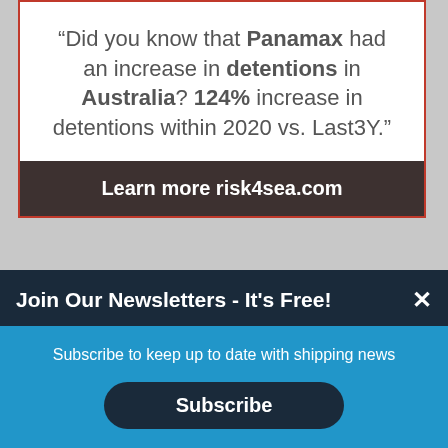“Did you know that Panamax had an increase in detentions in Australia? 124% increase in detentions within 2020 vs. Last3Y.”
Learn more risk4sea.com
Join Our Newsletters - It's Free!
Subscribe to keep up to date with shipping news
Subscribe